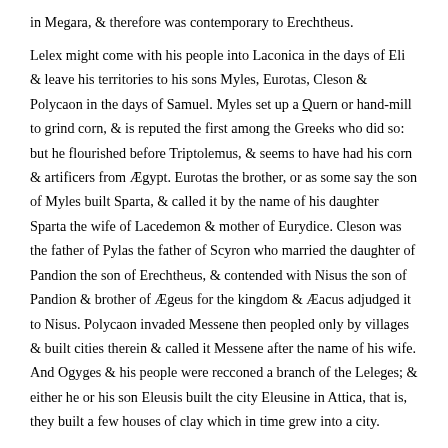in Megara, & therefore was contemporary to Erechtheus.

Lelex might come with his people into Laconica in the days of Eli & leave his territories to his sons Myles, Eurotas, Cleson & Polycaon in the days of Samuel. Myles set up a Quern or hand-mill to grind corn, & is reputed the first among the Greeks who did so: but he flourished before Triptolemus, & seems to have had his corn & artificers from Ægypt. Eurotas the brother, or as some say the son of Myles built Sparta, & called it by the name of his daughter Sparta the wife of Lacedemon & mother of Eurydice. Cleson was the father of Pylas the father of Scyron who married the daughter of Pandion the son of Erechtheus, & contended with Nisus the son of Pandion & brother of Ægeus for the kingdom & Æacus adjudged it to Nisus. Polycaon invaded Messene then peopled only by villages & built cities therein & called it Messene after the name of his wife. And Ogyges & his people were recconed a branch of the Leleges; & either he or his son Eleusis built the city Eleusine in Attica, that is, they built a few houses of clay which in time grew into a city.